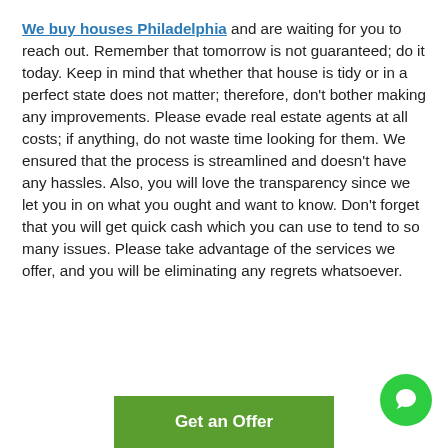We buy houses Philadelphia and are waiting for you to reach out. Remember that tomorrow is not guaranteed; do it today. Keep in mind that whether that house is tidy or in a perfect state does not matter; therefore, don't bother making any improvements. Please evade real estate agents at all costs; if anything, do not waste time looking for them. We ensured that the process is streamlined and doesn't have any hassles. Also, you will love the transparency since we let you in on what you ought and want to know. Don't forget that you will get quick cash which you can use to tend to so many issues. Please take advantage of the services we offer, and you will be eliminating any regrets whatsoever.
[Figure (other): Green circular chat/messaging button icon in bottom-right corner]
Get an Offer